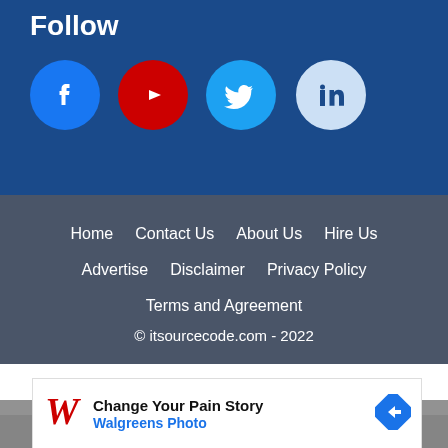Follow
[Figure (infographic): Four social media icons in circles: Facebook (blue), YouTube (red), Twitter (light blue), LinkedIn (light blue). Displayed horizontally in a row.]
Home  Contact Us  About Us  Hire Us  Advertise  Disclaimer  Privacy Policy  Terms and Agreement
© itsourcecode.com - 2022
[Figure (infographic): Advertisement banner: Walgreens logo with text 'Change Your Pain Story' and 'Walgreens Photo' in blue, with a blue diamond arrow icon on the right.]